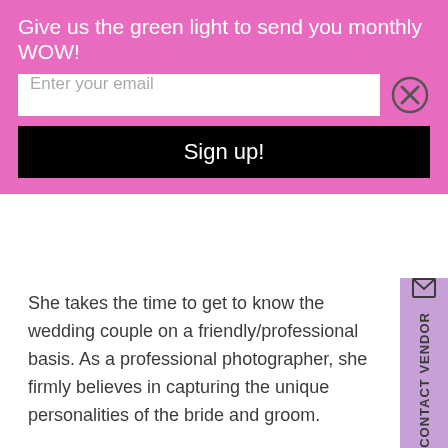Give us the green light to send you monthly WOW!
Enter your email
Sign up!
She takes the time to get to know the wedding couple on a friendly/professional basis. As a professional photographer, she firmly believes in capturing the unique personalities of the bride and groom.
Dedicated to her craft, Karen has been a professional photographer in Dallas for years. Professional photographer services include:
Bridal photography
Engagement photos
Wedding day photographer